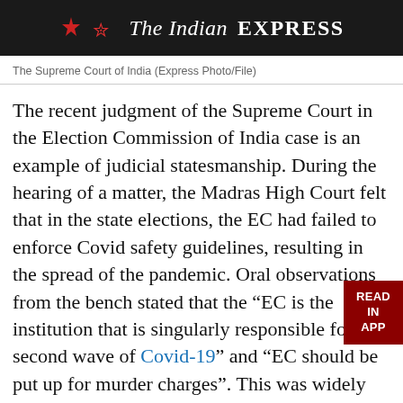The Indian EXPRESS
The Supreme Court of India (Express Photo/File)
The recent judgment of the Supreme Court in the Election Commission of India case is an example of judicial statesmanship. During the hearing of a matter, the Madras High Court felt that in the state elections, the EC had failed to enforce Covid safety guidelines, resulting in the spread of the pandemic. Oral observations from the bench stated that the “EC is the institution that is singularly responsible for the second wave of Covid-19” and “EC should be put up for murder charges”. This was widely reported in the media. The EC approached the SC. The SC has beautifully